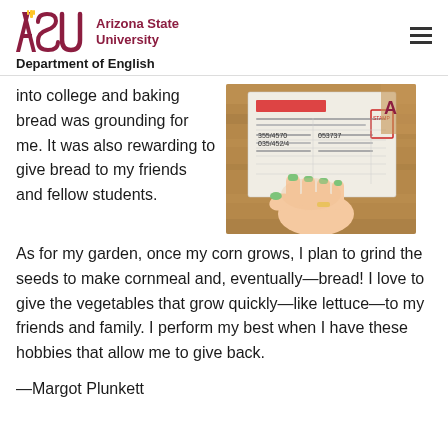Arizona State University — Department of English
into college and baking bread was grounding for me. It was also rewarding to give bread to my friends and fellow students. As for my garden, once my corn grows, I plan to grind the seeds to make cornmeal and, eventually—bread! I love to give the vegetables that grow quickly—like lettuce—to my friends and family. I perform my best when I have these hobbies that allow me to give back.
[Figure (photo): A hand with green nail polish holding a document/form, placed on a wooden table surface.]
—Margot Plunkett